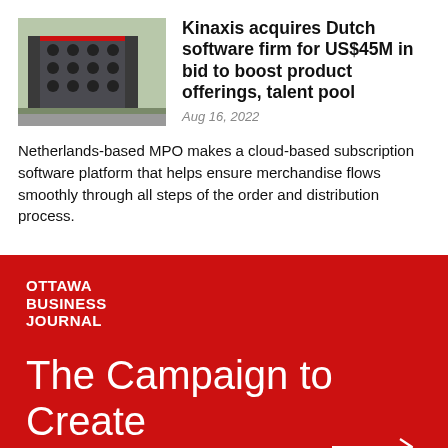[Figure (photo): Photo of a modern multi-storey office building with dark facade and circular window accents, surrounded by greenery and parking lot.]
Kinaxis acquires Dutch software firm for US$45M in bid to boost product offerings, talent pool
Aug 16, 2022
Netherlands-based MPO makes a cloud-based subscription software platform that helps ensure merchandise flows smoothly through all steps of the order and distribution process.
[Figure (logo): Ottawa Business Journal red banner with white logo text reading OTTAWA BUSINESS JOURNAL and large headline The Campaign to Create Tomorrow with a right-pointing arrow.]